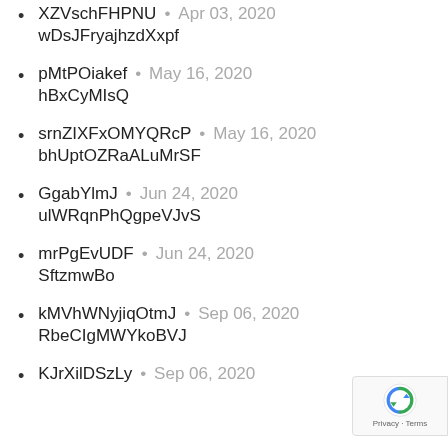XZVschFHPNU • Apr 03, 2020
wDsJFryajhzdXxpf
pMtPOiakef • May 16, 2020
hBxCyMIsQ
srnZIXFxOMYQRcP • May 16, 2020
bhUptOZRaALuMrSF
GgabYlmJ • Jun 24, 2020
ulWRqnPhQgpeVJvS
mrPgEvUDF • Jun 24, 2020
SftzmwBo
kMVhWNyjiqOtmJ • Sep 06, 2020
RbeCIgMWYkoBVJ
KJrXilDSzLy • Sep 06, 2020